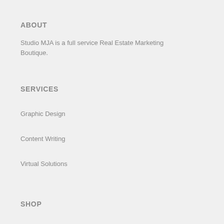ABOUT
Studio MJA is a full service Real Estate Marketing Boutique.
SERVICES
Graphic Design
Content Writing
Virtual Solutions
SHOP